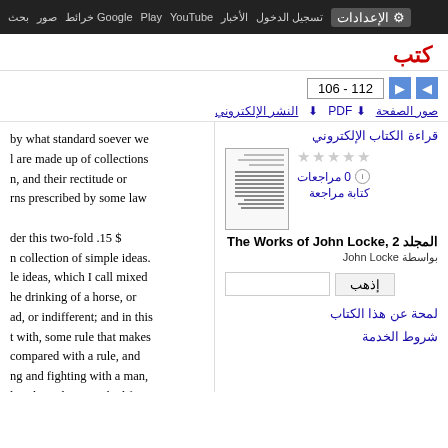بحث صور خرائط Google Play YouTube الأخبار تسجيل الدخول الإعدادات
كتب
106 - 112
صور الصفحة  PDF  النشر الإلكتروني
by what standard soever we l are made up of collections n, and their rectitude or rns prescribed by some law der this two-fold .15 $ n collection of simple ideas. le ideas, which I call mixed he drinking of a horse, or ad, or indifferent; and in this t with, some rule that makes compared with a rule, and ng and fighting with a man, lar ideas, distinguished from e law of God, will deserve
قراءة الكتاب الإلكتروني
0 مراجعات
كتابة مراجعة
المجلد The Works of John Locke, 2
بواسطة John Locke
إذهب
لمحة عن هذا الكتاب
شروط الخدمة